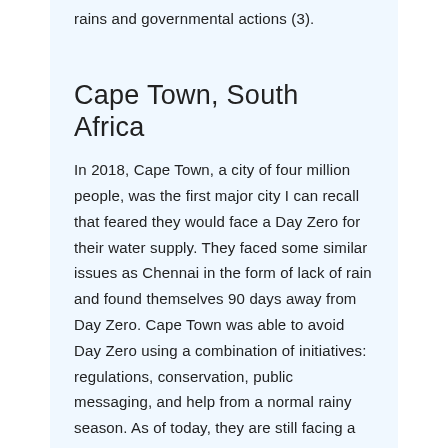rains and governmental actions (3).
Cape Town, South Africa
In 2018, Cape Town, a city of four million people, was the first major city I can recall that feared they would face a Day Zero for their water supply. They faced some similar issues as Chennai in the form of lack of rain and found themselves 90 days away from Day Zero. Cape Town was able to avoid Day Zero using a combination of initiatives: regulations, conservation, public messaging, and help from a normal rainy season. As of today, they are still facing a moderate drought but have avoided Day Zero for now (4).